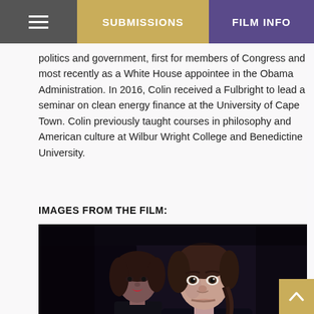SUBMISSIONS  |  FILM INFO
politics and government, first for members of Congress and most recently as a White House appointee in the Obama Administration. In 2016, Colin received a Fulbright to lead a seminar on clean energy finance at the University of Cape Town. Colin previously taught courses in philosophy and American culture at Wilbur Wright College and Benedictine University.
IMAGES FROM THE FILM:
[Figure (photo): A film still showing two women, with a younger girl in the foreground looking directly at camera and an older woman with red lips partially visible behind her, in a dark, moody setting.]